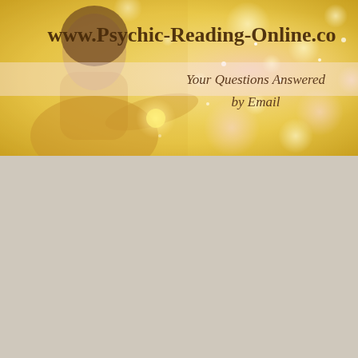[Figure (photo): Banner image with golden bokeh background, a young woman in a golden dress kneeling and blowing glowing sparks from her hands, with text overlay reading 'www.Psychic-Reading-Online.co' and 'Your Questions Answered by Email']
www.Psychic-Reading-Online.co
Your Questions Answered
by Email